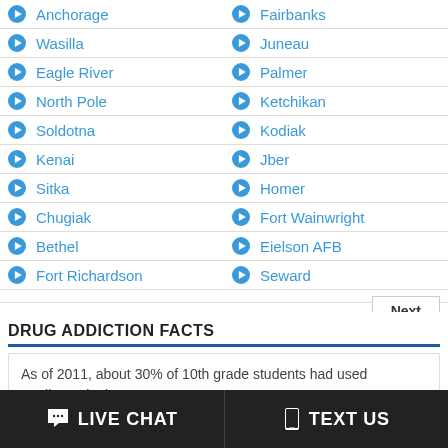Anchorage
Fairbanks
Wasilla
Juneau
Eagle River
Palmer
North Pole
Ketchikan
Soldotna
Kodiak
Kenai
Jber
Sitka
Homer
Chugiak
Fort Wainwright
Bethel
Eielson AFB
Fort Richardson
Seward
DRUG ADDICTION FACTS
As of 2011, about 30% of 10th grade students had used marijuana in the past year.
LIVE CHAT
TEXT US